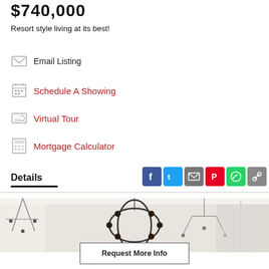$740,000
Resort style living at its best!
Email Listing
Schedule A Showing
Virtual Tour
Mortgage Calculator
Details
[Figure (photo): Interior photo showing modern chandeliers and ceiling light fixtures in a home]
Request More Info